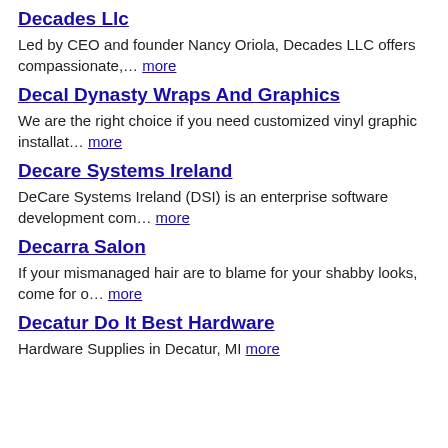Decades Llc
Led by CEO and founder Nancy Oriola, Decades LLC offers compassionate,… more
Decal Dynasty Wraps And Graphics
We are the right choice if you need customized vinyl graphic installat… more
Decare Systems Ireland
DeCare Systems Ireland (DSI) is an enterprise software development com… more
Decarra Salon
If your mismanaged hair are to blame for your shabby looks, come for o… more
Decatur Do It Best Hardware
Hardware Supplies in Decatur, MI more